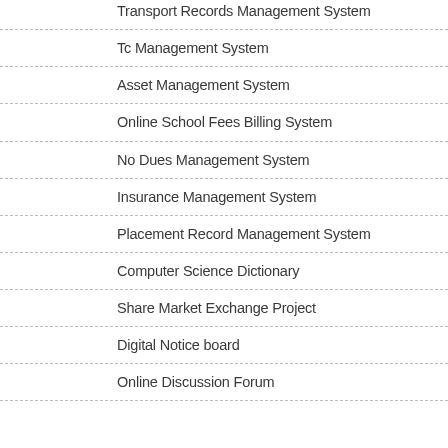Transport Records Management System
Tc Management System
Asset Management System
Online School Fees Billing System
No Dues Management System
Insurance Management System
Placement Record Management System
Computer Science Dictionary
Share Market Exchange Project
Digital Notice board
Online Discussion Forum